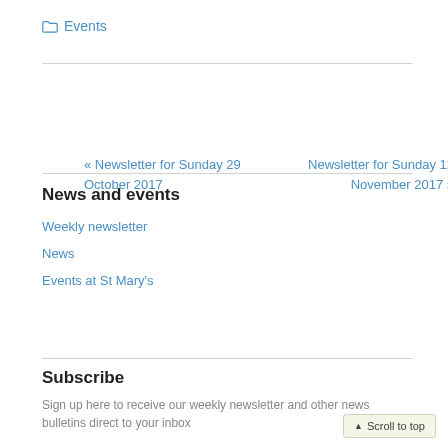Events
« Newsletter for Sunday 29 October 2017   Newsletter for Sunday 12 November 2017 »
News and events
Weekly newsletter
News
Events at St Mary's
Subscribe
Sign up here to receive our weekly newsletter and other news bulletins direct to your inbox
▲ Scroll to top